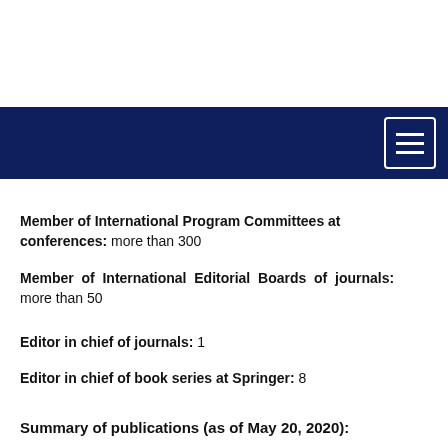[Figure (other): Dark navy blue navigation bar with hamburger menu icon (three horizontal lines) in a white-bordered rectangle on the right side]
Member of International Program Committees at conferences: more than 300
Member of International Editorial Boards of journals: more than 50
Editor in chief of journals: 1
Editor in chief of book series at Springer: 8
Summary of publications (as of May 20, 2020):